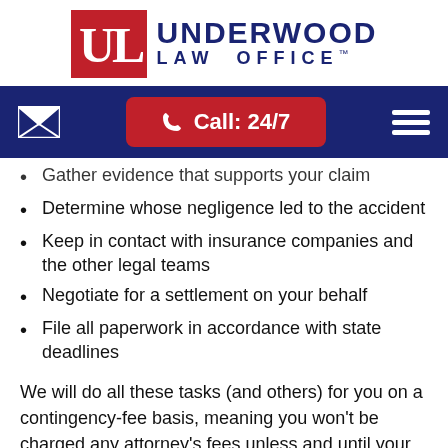[Figure (logo): Underwood Law Office logo with red ULO box and navy blue text]
[Figure (other): Navy blue navigation bar with envelope icon, red Call: 24/7 button, and hamburger menu icon]
Gather evidence that supports your claim
Determine whose negligence led to the accident
Keep in contact with insurance companies and the other legal teams
Negotiate for a settlement on your behalf
File all paperwork in accordance with state deadlines
We will do all these tasks (and others) for you on a contingency-fee basis, meaning you won’t be charged any attorney’s fees unless and until your lawyer secures compensation for you.